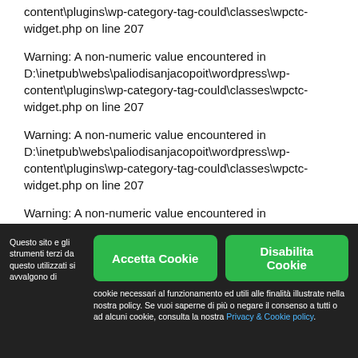content\plugins\wp-category-tag-could\classes\wpctc-widget.php on line 207
Warning: A non-numeric value encountered in D:\inetpub\webs\paliodisanjacopoit\wordpress\wp-content\plugins\wp-category-tag-could\classes\wpctc-widget.php on line 207
Warning: A non-numeric value encountered in D:\inetpub\webs\paliodisanjacopoit\wordpress\wp-content\plugins\wp-category-tag-could\classes\wpctc-widget.php on line 207
Warning: A non-numeric value encountered in D:\inetpub\webs\paliodisanjacopoit\wordpress\wp-content\plugins\wp-category-tag-could\classes\wpctc-widget.php on line 207
Questo sito e gli strumenti terzi da questo utilizzati si avvalgono di cookie necessari al funzionamento ed utili alle finalità illustrate nella nostra policy. Se vuoi saperne di più o negare il consenso a tutti o ad alcuni cookie, consulta la nostra Privacy & Cookie policy.